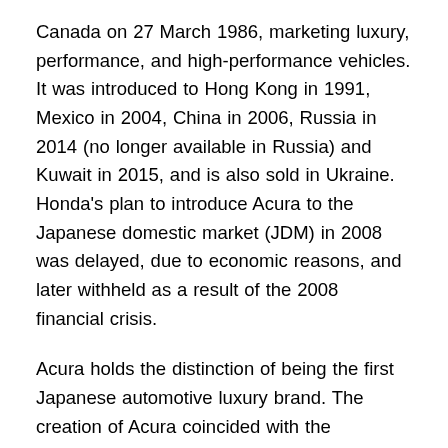Canada on 27 March 1986, marketing luxury, performance, and high-performance vehicles. It was introduced to Hong Kong in 1991, Mexico in 2004, China in 2006, Russia in 2014 (no longer available in Russia) and Kuwait in 2015, and is also sold in Ukraine. Honda's plan to introduce Acura to the Japanese domestic market (JDM) in 2008 was delayed, due to economic reasons, and later withheld as a result of the 2008 financial crisis.
Acura holds the distinction of being the first Japanese automotive luxury brand. The creation of Acura coincided with the introduction of a JDM Honda dealership sales channel, called Honda Clio, which sold luxury vehicles, joining previously established Honda Verno, followed by Honda Primo the following year. In its first few years of existence, Acura was among the best-selling luxury marques in the US. Though sales were down in the mid-to-late 1990s, the brand experienced a revival in the early